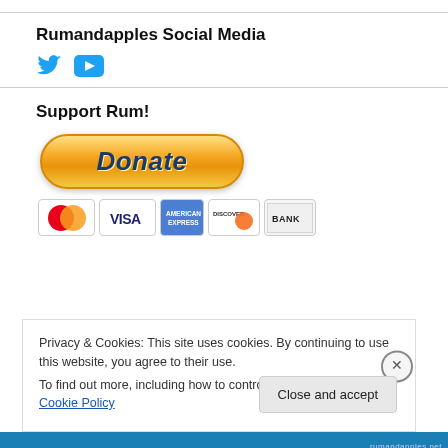Rumandapples Social Media
[Figure (illustration): Twitter bird icon (blue) and YouTube play button icon (blue)]
Support Rum!
[Figure (illustration): PayPal Donate button with golden/orange gradient and italic bold text 'Donate', followed by payment method icons: Mastercard, Visa, American Express, Discover, Bank]
Privacy & Cookies: This site uses cookies. By continuing to use this website, you agree to their use. To find out more, including how to control cookies, see here: Cookie Policy